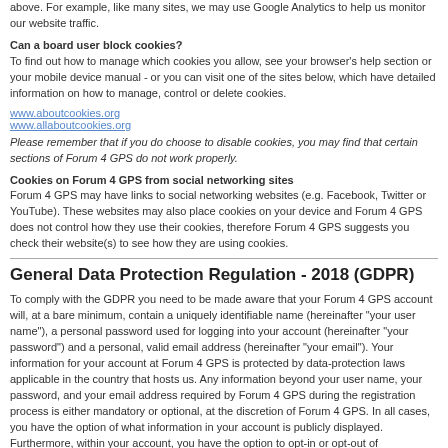above. For example, like many sites, we may use Google Analytics to help us monitor our website traffic.
Can a board user block cookies?
To find out how to manage which cookies you allow, see your browser's help section or your mobile device manual - or you can visit one of the sites below, which have detailed information on how to manage, control or delete cookies.
www.aboutcookies.org
www.allaboutcookies.org
Please remember that if you do choose to disable cookies, you may find that certain sections of Forum 4 GPS do not work properly.
Cookies on Forum 4 GPS from social networking sites
Forum 4 GPS may have links to social networking websites (e.g. Facebook, Twitter or YouTube). These websites may also place cookies on your device and Forum 4 GPS does not control how they use their cookies, therefore Forum 4 GPS suggests you check their website(s) to see how they are using cookies.
General Data Protection Regulation - 2018 (GDPR)
To comply with the GDPR you need to be made aware that your Forum 4 GPS account will, at a bare minimum, contain a uniquely identifiable name (hereinafter "your user name"), a personal password used for logging into your account (hereinafter "your password") and a personal, valid email address (hereinafter "your email"). Your information for your account at Forum 4 GPS is protected by data-protection laws applicable in the country that hosts us. Any information beyond your user name, your password, and your email address required by Forum 4 GPS during the registration process is either mandatory or optional, at the discretion of Forum 4 GPS. In all cases, you have the option of what information in your account is publicly displayed. Furthermore, within your account, you have the option to opt-in or opt-out of automatically generated emails.
Furthermore we will store all of the IP address that you use to post with. Depending on your preferences Forum 4 GPS may send you emails to the email address that Forum 4 GPS holds in your account which will either be that you used when you registered or one that you have subsequently changed, but you are able to change these preferences from your User Control Panel (UCP) at any time should you wish to stop receiving them.
The personal details that you gave us when you signed up, or added later, will be used solely for the purposes of Forum 4 GPS board functionality. They will not be used for anything else and...